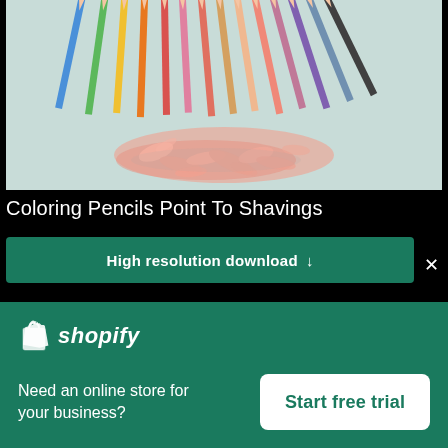[Figure (photo): Photo of colorful pencils arranged with tips pointing down, surrounded by pink pencil shavings on a light blue-grey background]
Coloring Pencils Point To Shavings
High resolution download ↓
[Figure (logo): Shopify logo with shopping bag icon and italic shopify text in white]
Need an online store for your business?
Start free trial